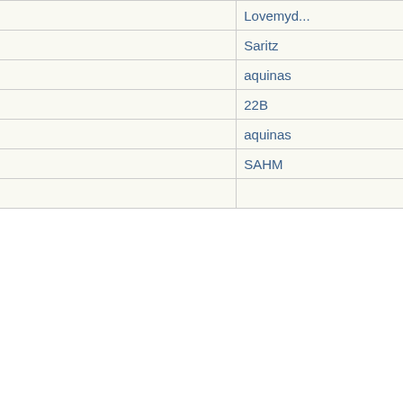| Subject | Author |
| --- | --- |
| Re: Not-really-brag-so-much-as-quirky-anecdote thread | Lovemyd... |
| Re: Not-really-brag-so-much-as-quirky-anecdote thread | Saritz |
| Re: Not-really-brag-so-much-as-quirky-anecdote thread | aquinas |
| Re: Not-really-brag-so-much-as-quirky-anecdote thread | 22B |
| Re: Not-really-brag-so-much-as-quirky-anecdote thread | aquinas |
| Re: Not-really-brag-so-much-as-quirky-anecdote thread | SAHM |
| Re: Not-really-brag-so-much-as-quirky-anecdote thread | ... |